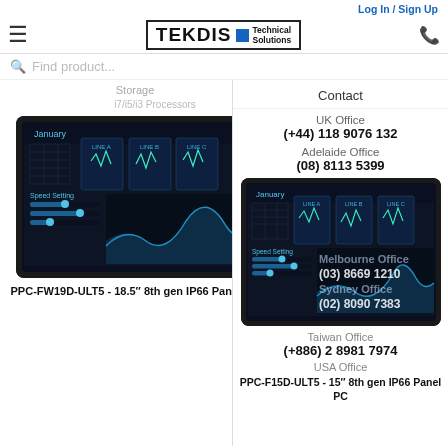Log In / Sign Up
[Figure (logo): TEKDIS Technical Solutions logo with blue square]
[Figure (illustration): Search bar with Find product... placeholder]
Storage
Contact
UK Office
(+44) 118 9076 132
Adelaide Office
(08) 8113 5399
[Figure (photo): Panel PC display showing industrial dashboard with blue charts]
(03) 8669 1210
Sydney Office
(02) 8090 7383
[Figure (photo): Second Panel PC display showing industrial dashboard]
Taiwan Office
(+886) 2 8981 7974
USA Office
PPC-FW19D-ULT5 - 18.5″ 8th gen IP66 Panel PC
PPC-F15D-ULT5 - 15″ 8th gen IP66 Panel PC